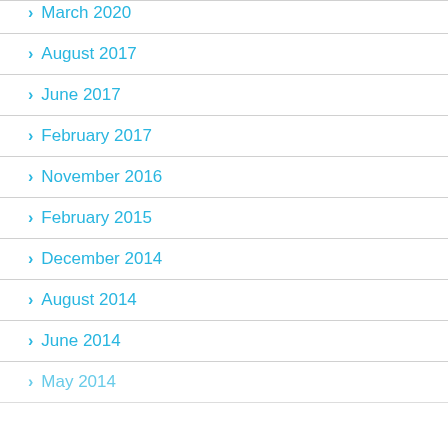March 2020
August 2017
June 2017
February 2017
November 2016
February 2015
December 2014
August 2014
June 2014
May 2014